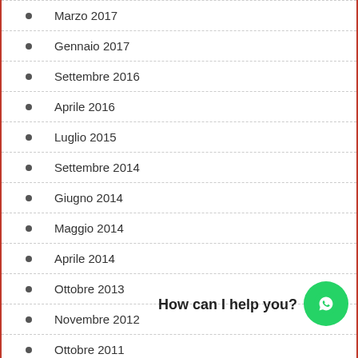Marzo 2017
Gennaio 2017
Settembre 2016
Aprile 2016
Luglio 2015
Settembre 2014
Giugno 2014
Maggio 2014
Aprile 2014
Ottobre 2013
Novembre 2012
Ottobre 2011